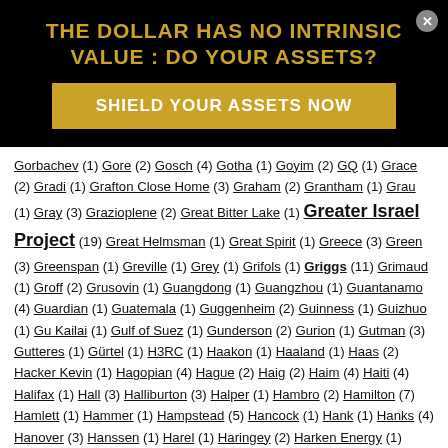THE DOLLAR HAS NO INTRINSIC VALUE : DO YOUR ASSETS?
SHIELD YOUR ASSETS NOW
Gorbachev (1) Gore (2) Gosch (4) Gotha (1) Goyim (2) GQ (1) Grace (2) Gradi (1) Grafton Close Home (3) Graham (2) Grantham (1) Grau (1) Gray (3) Grazioplene (2) Great Bitter Lake (1) Greater Israel Project (19) Great Helmsman (1) Great Spirit (1) Greece (3) Green (3) Greenspan (1) Greville (1) Grey (1) Grifols (1) Griggs (11) Grimaud (1) Groff (2) Grusovin (1) Guangdong (1) Guangzhou (1) Guantanamo (4) Guardian (1) Guatemala (1) Guggenheim (2) Guinness (1) Guizhuo (1) Gu Kailai (1) Gulf of Suez (1) Gunderson (2) Gurion (1) Gutman (3) Gutteres (1) Gürtel (1) H3RC (1) Haakon (1) Haaland (1) Haas (2) Hacker Kevin (1) Hagopian (4) Hague (2) Haig (2) Haim (4) Haiti (4) Halifax (1) Hall (3) Halliburton (3) Halper (1) Hambro (2) Hamilton (7) Hamlett (1) Hammer (1) Hampstead (5) Hancock (1) Hank (1) Hanks (4) Hanover (3) Hanssen (1) Harel (1) Haringey (2) Harken Energy (1) Harman (3) Haroon (1) Harriman (2) Harris (8) Hart (3) Harvard (8) Hashim Thaci (1) Haspel (1)